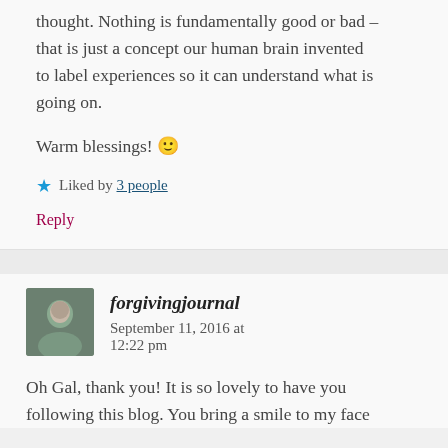thought. Nothing is fundamentally good or bad – that is just a concept our human brain invented to label experiences so it can understand what is going on.
Warm blessings! 🙂
★ Liked by 3 people
Reply
forgivingjournal  September 11, 2016 at 12:22 pm
Oh Gal, thank you! It is so lovely to have you following this blog. You bring a smile to my face